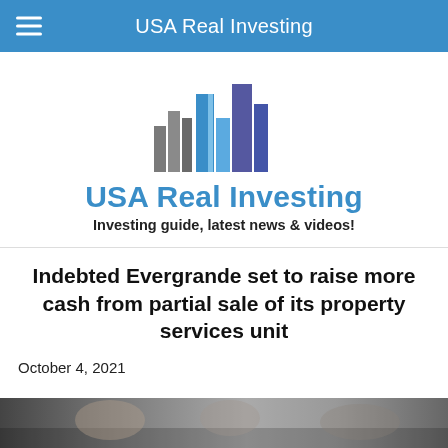USA Real Investing
[Figure (logo): USA Real Investing logo with stylized city skyline buildings in gray, blue, and purple/indigo colors]
USA Real Investing
Investing guide, latest news & videos!
Indebted Evergrande set to raise more cash from partial sale of its property services unit
October 4, 2021
[Figure (photo): Bottom partial photo strip showing a street scene or crowd]